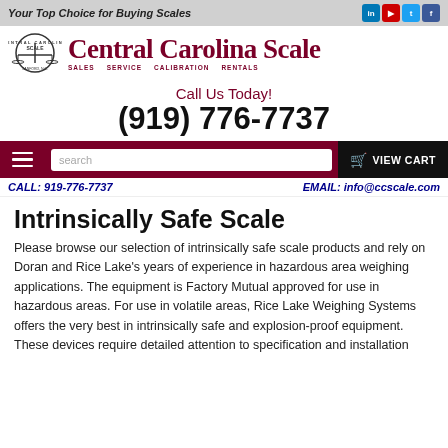Your Top Choice for Buying Scales
[Figure (logo): Central Carolina Scale logo with emblem, main title text, and subheadings: Sales, Service, Calibration, Rentals]
Call Us Today!
(919) 776-7737
search
VIEW CART
CALL: 919-776-7737
EMAIL: info@ccscale.com
Intrinsically Safe Scale
Please browse our selection of intrinsically safe scale products and rely on Doran and Rice Lake's years of experience in hazardous area weighing applications. The equipment is Factory Mutual approved for use in hazardous areas. For use in volatile areas, Rice Lake Weighing Systems offers the very best in intrinsically safe and explosion-proof equipment. These devices require detailed attention to specification and installation